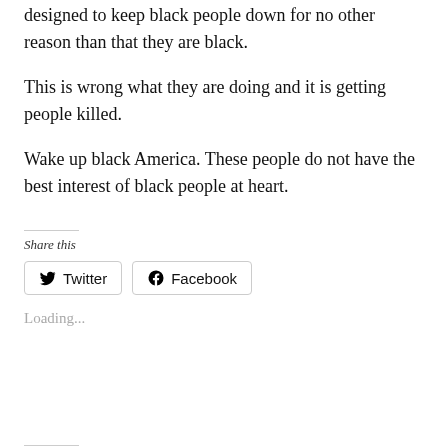designed to keep black people down for no other reason than that they are black.
This is wrong what they are doing and it is getting people killed.
Wake up black America. These people do not have the best interest of black people at heart.
Share this
Twitter  Facebook
Loading...